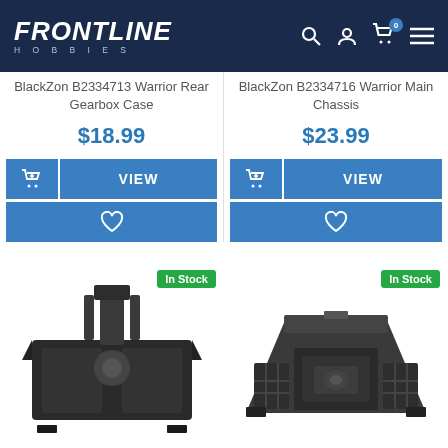Frontline Hobbies
BlackZon B2334713 Warrior Rear Gearbox Case
$18.99
BlackZon B2334716 Warrior Main Chassis
$23.99
[Figure (photo): BlackZon Warrior Rear Gearbox Case plastic part, black color]
[Figure (photo): BlackZon Warrior Main Chassis plastic part, dark gray color]